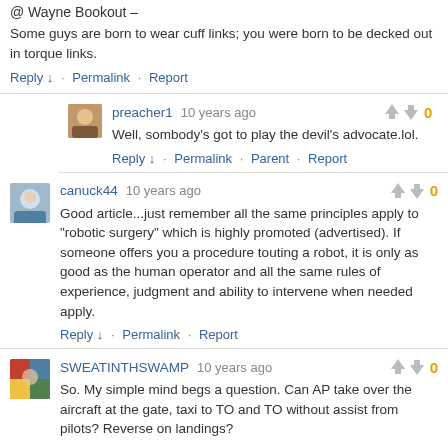@ Wayne Bookout –
Some guys are born to wear cuff links; you were born to be decked out in torque links.
Reply ↓ · Permalink · Report
preacher1  10 years ago
Well, sombody's got to play the devil's advocate.lol.
Reply ↓ · Permalink · Parent · Report
canuck44  10 years ago
Good article...just remember all the same principles apply to "robotic surgery" which is highly promoted (advertised). If someone offers you a procedure touting a robot, it is only as good as the human operator and all the same rules of experience, judgment and ability to intervene when needed apply.
Reply ↓ · Permalink · Report
SWEATINTHSWAMP  10 years ago
So. My simple mind begs a question. Can AP take over the aircraft at the gate, taxi to TO and TO without assist from pilots? Reverse on landings?
Reply ↓ · Permalink · Report